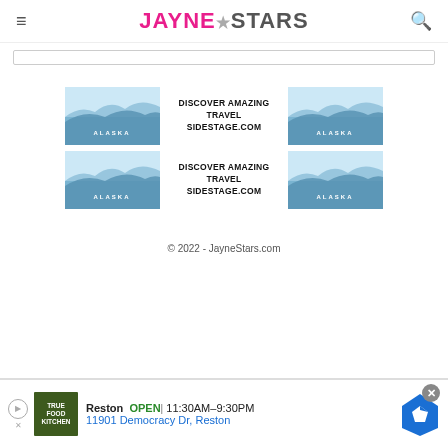JAYNE★STARS
[Figure (screenshot): Search bar input area]
[Figure (infographic): Two travel advertisement banners for SideStage.com showing Alaska glacier images with text DISCOVER AMAZING TRAVEL SIDESTAGE.COM, repeated twice]
© 2022 - JayneStars.com
[Figure (infographic): Bottom advertisement bar: True Food Kitchen - Reston OPEN 11:30AM-9:30PM, 11901 Democracy Dr, Reston, with map navigation icon]